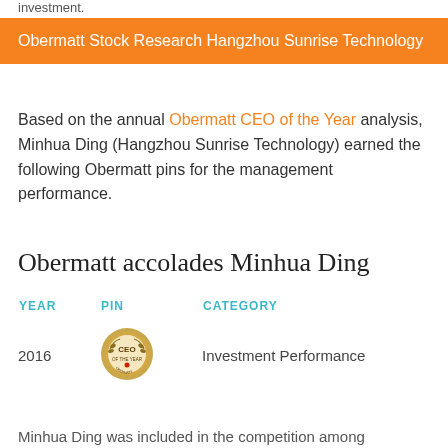investment.
Obermatt Stock Research Hangzhou Sunrise Technology
Based on the annual Obermatt CEO of the Year analysis, Minhua Ding (Hangzhou Sunrise Technology) earned the following Obermatt pins for the management performance.
Obermatt accolades Minhua Ding
| YEAR | PIN | CATEGORY |
| --- | --- | --- |
| 2016 | [CEO pin badge] | Investment Performance |
Minhua Ding was included in the competition among